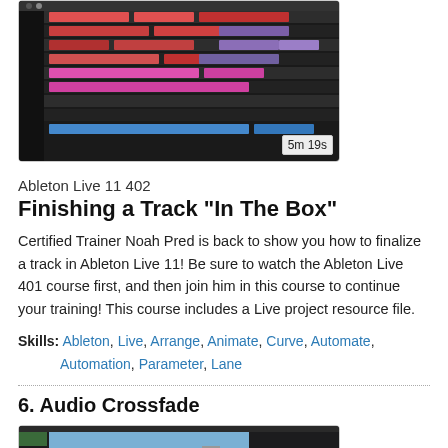[Figure (screenshot): Ableton Live session view with colored tracks, 5m 19s duration badge]
Ableton Live 11 402
Finishing a Track "In The Box"
Certified Trainer Noah Pred is back to show you how to finalize a track in Ableton Live 11! Be sure to watch the Ableton Live 401 course first, and then join him in this course to continue your training! This course includes a Live project resource file.
Skills: Ableton, Live, Arrange, Animate, Curve, Automate, Automation, Parameter, Lane
6. Audio Crossfade
[Figure (screenshot): Final Cut Pro X timeline view with video clips, 2m 18s duration badge]
Final Cut Pro X 100
What's New in Final Cut Pro X 10.4.9 and